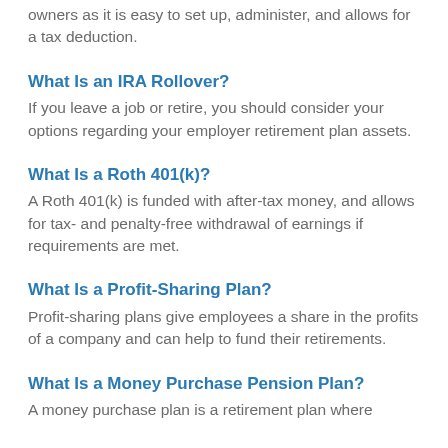owners as it is easy to set up, administer, and allows for a tax deduction.
What Is an IRA Rollover?
If you leave a job or retire, you should consider your options regarding your employer retirement plan assets.
What Is a Roth 401(k)?
A Roth 401(k) is funded with after-tax money, and allows for tax- and penalty-free withdrawal of earnings if requirements are met.
What Is a Profit-Sharing Plan?
Profit-sharing plans give employees a share in the profits of a company and can help to fund their retirements.
What Is a Money Purchase Pension Plan?
A money purchase plan is a retirement plan where